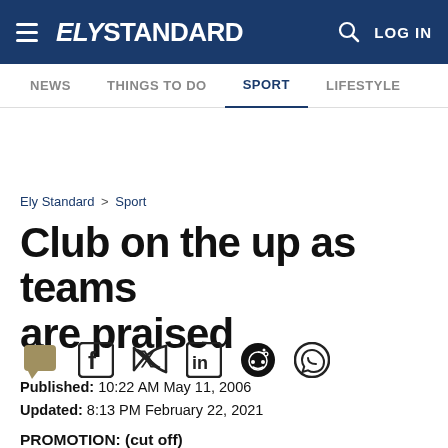ELY STANDARD — LOG IN
NEWS | THINGS TO DO | SPORT | LIFESTYLE
Ely Standard > Sport
Club on the up as teams are praised
[Figure (other): Social share icons: comment, Facebook, Twitter, LinkedIn, Reddit, WhatsApp]
Published: 10:22 AM May 11, 2006
Updated: 8:13 PM February 22, 2021
PROMOTION: (partially visible text)